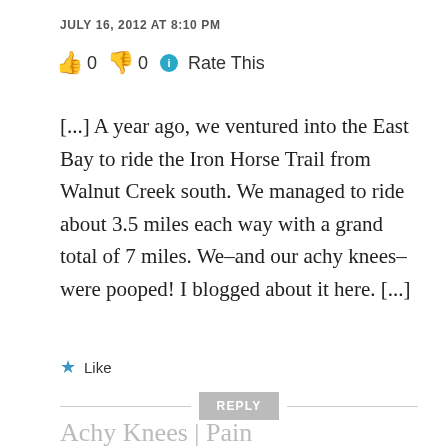JULY 16, 2012 AT 8:10 PM
👍 0 👎 0 ℹ Rate This
[...] A year ago, we ventured into the East Bay to ride the Iron Horse Trail from Walnut Creek south. We managed to ride about 3.5 miles each way with a grand total of 7 miles. We–and our achy knees– were pooped! I blogged about it here. [...]
★ Like
REPLY
Achy Knees | Pain